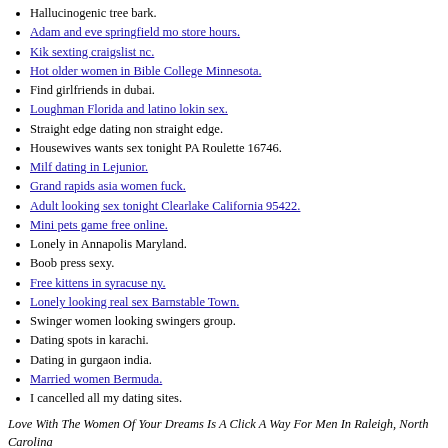Hallucinogenic tree bark.
Adam and eve springfield mo store hours.
Kik sexting craigslist nc.
Hot older women in Bible College Minnesota.
Find girlfriends in dubai.
Loughman Florida and latino lokin sex.
Straight edge dating non straight edge.
Housewives wants sex tonight PA Roulette 16746.
Milf dating in Lejunior.
Grand rapids asia women fuck.
Adult looking sex tonight Clearlake California 95422.
Mini pets game free online.
Lonely in Annapolis Maryland.
Boob press sexy.
Free kittens in syracuse ny.
Lonely looking real sex Barnstable Town.
Swinger women looking swingers group.
Dating spots in karachi.
Dating in gurgaon india.
Married women Bermuda.
I cancelled all my dating sites.
Love With The Women Of Your Dreams Is A Click A Way For Men In Raleigh, North Carolina